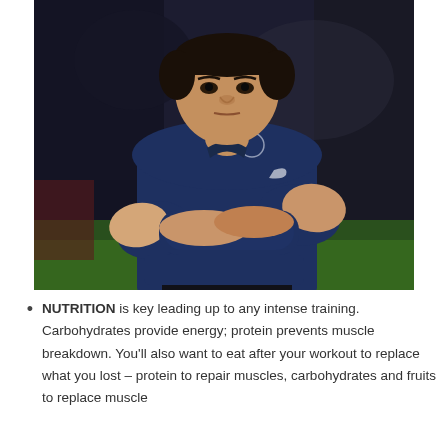[Figure (photo): A heavyset man of Asian descent wearing a navy blue short-sleeve polo shirt with a Nike logo and a team emblem, standing with his arms crossed, looking forward with a serious expression. The background is a blurred outdoor field/stadium setting with dark and green tones.]
NUTRITION is key leading up to any intense training. Carbohydrates provide energy; protein prevents muscle breakdown. You'll also want to eat after your workout to replace what you lost – protein to repair muscles, carbohydrates and fruits to replace muscle